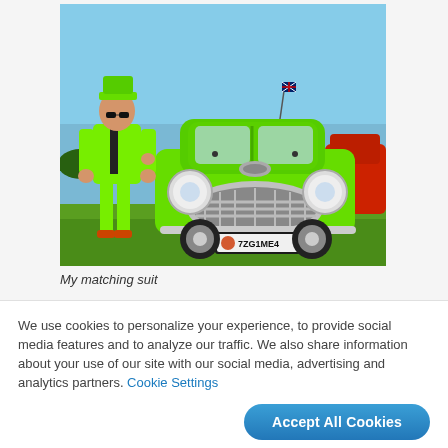[Figure (photo): A man wearing a bright neon green suit and hat stands next to a neon green classic Mini Cooper car on a grass field at what appears to be a car show. The car has a Colorado license plate reading 7ZCIME4. Other cars are visible in the background under a clear blue sky.]
My matching suit
We use cookies to personalize your experience, to provide social media features and to analyze our traffic. We also share information about your use of our site with our social media, advertising and analytics partners. Cookie Settings
Accept All Cookies